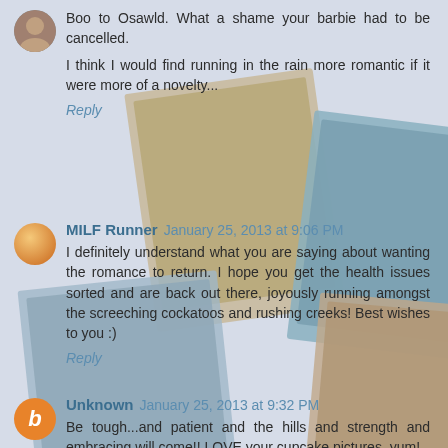[Figure (photo): Background photo collage of running/fitness photos arranged as overlapping polaroid-style images]
Boo to Osawld. What a shame your barbie had to be cancelled.
I think I would find running in the rain more romantic if it were more of a novelty...
Reply
MILF Runner  January 25, 2013 at 9:06 PM
I definitely understand what you are saying about wanting the romance to return. I hope you get the health issues sorted and are back out there, joyously running amongst the screeching cockatoos and rushing creeks! Best wishes to you :)
Reply
Unknown  January 25, 2013 at 9:32 PM
Be tough...and patient and the hills and strength and embracing will come!! LOVE your cupcake pictures, yum!